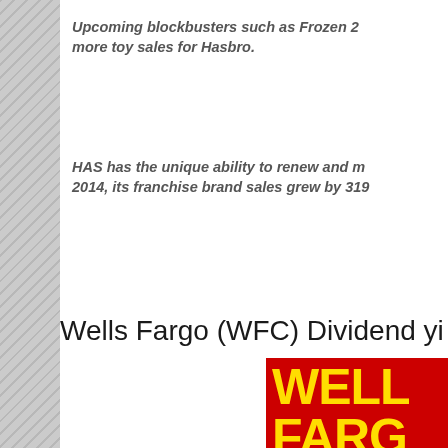Upcoming blockbusters such as Frozen 2 more toy sales for Hasbro.
HAS has the unique ability to renew and m 2014, its franchise brand sales grew by 319
Wells Fargo (WFC) Dividend yi
[Figure (logo): Wells Fargo logo — red background with large bold yellow text reading WELLS FARGO (cropped, showing WELL and FARG)]